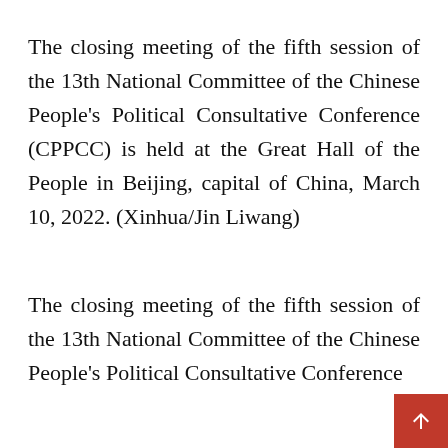The closing meeting of the fifth session of the 13th National Committee of the Chinese People's Political Consultative Conference (CPPCC) is held at the Great Hall of the People in Beijing, capital of China, March 10, 2022. (Xinhua/Jin Liwang)
The closing meeting of the fifth session of the 13th National Committee of the Chinese People's Political Consultative Conference